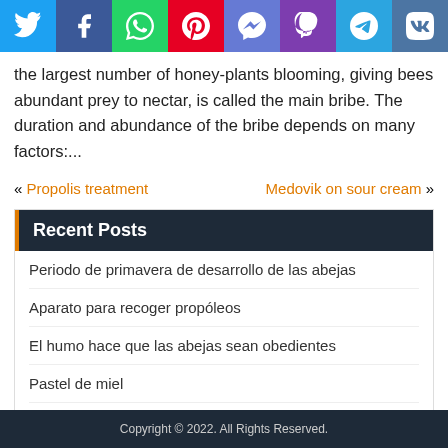[Figure (infographic): Social media sharing bar with icons for Twitter, Facebook, WhatsApp, Pinterest, Messenger, Viber, Telegram, and VK]
the largest number of honey-plants blooming, giving bees abundant prey to nectar, is called the main bribe. The duration and abundance of the bribe depends on many factors:...
« Propolis treatment   Medovik on sour cream »
Recent Posts
Periodo de primavera de desarrollo de las abejas
Aparato para recoger propóleos
El humo hace que las abejas sean obedientes
Pastel de miel
Marco de vacunación para el crecimiento de células reinas
Copyright © 2022. All Rights Reserved.